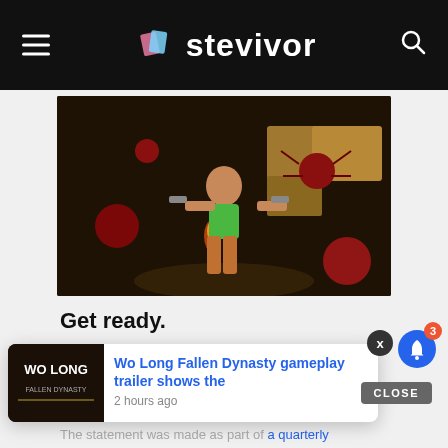stevivor
[Figure (illustration): Animated-style game art showing Lara Croft character holding two pistols, surrounded by giant spiders in a dungeon environment with torches and stone blocks]
Get ready.
Embracer Group has detailed its plans for a number of former Square Enix IPs, including Tomb [Raider's] potential [and more].
[Figure (screenshot): Toast notification showing Wo Long Fallen Dynasty article preview with thumbnail and text 'Wo Long Fallen Dynasty gameplay trailer shows the' from 2 hours ago]
The statement was made as part of a quarterly